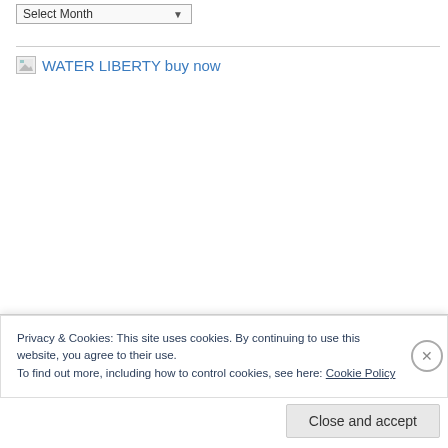[Figure (screenshot): Select Month dropdown widget at top of page, showing a form select element with 'Select Month' label and a dropdown arrow]
[Figure (illustration): Broken image placeholder with alt text 'WATER LIBERTY buy now' shown as a hyperlink in blue text]
Privacy & Cookies: This site uses cookies. By continuing to use this website, you agree to their use.
To find out more, including how to control cookies, see here: Cookie Policy
Close and accept